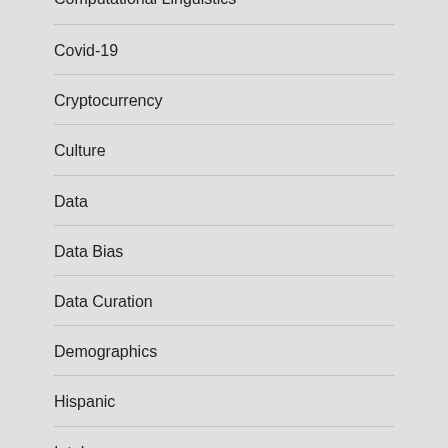Computational Linguistics
Covid-19
Cryptocurrency
Culture
Data
Data Bias
Data Curation
Demographics
Hispanic
Intel